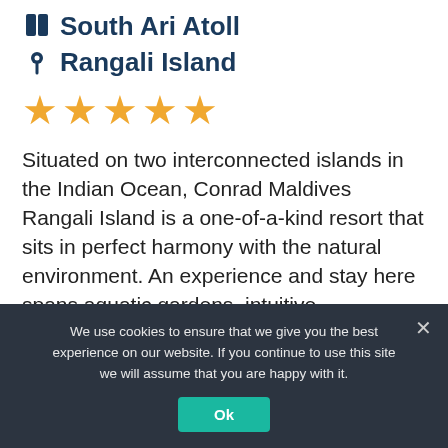South Ari Atoll
Rangali Island
[Figure (other): Five gold/yellow star rating icons]
Situated on two interconnected islands in the Indian Ocean, Conrad Maldives Rangali Island is a one-of-a-kind resort that sits in perfect harmony with the natural environment. An experience and stay here spans aquatic gardens, intuitive
We use cookies to ensure that we give you the best experience on our website. If you continue to use this site we will assume that you are happy with it.